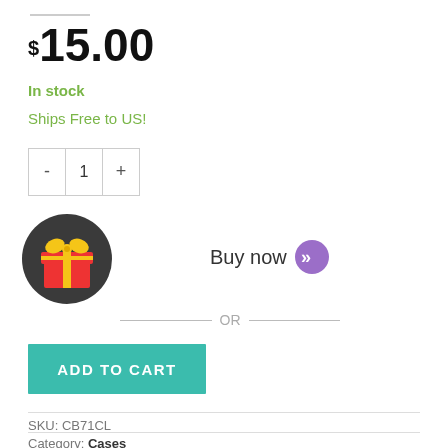$15.00
In stock
Ships Free to US!
- 1 +
[Figure (illustration): Dark circular icon with a red and yellow gift box]
Buy now >>
— OR —
ADD TO CART
SKU: CB71CL
Category: Cases